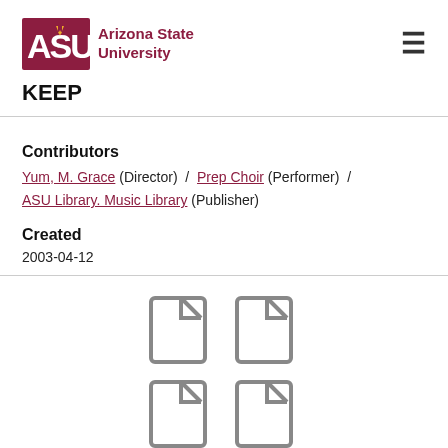[Figure (logo): Arizona State University logo with ASU text in maroon box and university name]
KEEP
Contributors
Yum, M. Grace (Director) / Prep Choir (Performer) / ASU Library. Music Library (Publisher)
Created
2003-04-12
[Figure (illustration): Four document/file icons arranged in a 2x2 grid]
Choir concert